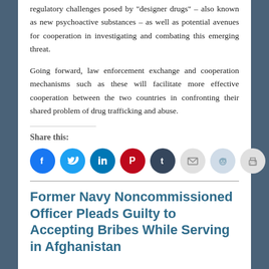regulatory challenges posed by "designer drugs" – also known as new psychoactive substances – as well as potential avenues for cooperation in investigating and combating this emerging threat.
Going forward, law enforcement exchange and cooperation mechanisms such as these will facilitate more effective cooperation between the two countries in confronting their shared problem of drug trafficking and abuse.
Share this:
[Figure (infographic): Row of social sharing icon buttons: Facebook (blue), Twitter (light blue), LinkedIn (dark blue), Pinterest (red), Tumblr (dark navy), Email (gray), Reddit (light blue-gray), Print (gray)]
Former Navy Noncommissioned Officer Pleads Guilty to Accepting Bribes While Serving in Afghanistan